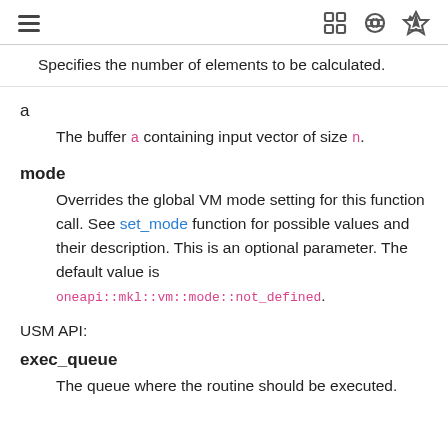[hamburger menu icon] [fullscreen icon] [github icon] [download icon]
Specifies the number of elements to be calculated.
a
The buffer a containing input vector of size n.
mode
Overrides the global VM mode setting for this function call. See set_mode function for possible values and their description. This is an optional parameter. The default value is oneapi::mkl::vm::mode::not_defined.
USM API:
exec_queue
The queue where the routine should be executed.